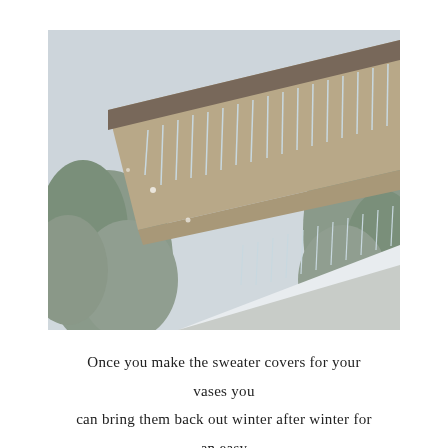[Figure (photo): A winter photograph showing the roofline and eaves of a house with long icicles hanging from the gutters. Snow covers the roof. Frost-covered evergreen shrubs and trees are visible in the foreground left and right. The sky is overcast and pale grey-white.]
Once you make the sweater covers for your vases you can bring them back out winter after winter for an easy